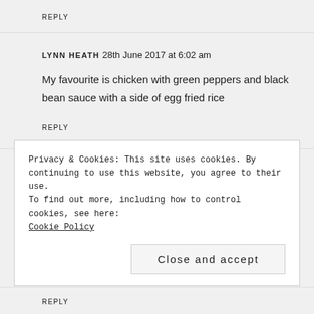REPLY
LYNN HEATH 28th June 2017 at 6:02 am
My favourite is chicken with green peppers and black bean sauce with a side of egg fried rice
REPLY
Privacy & Cookies: This site uses cookies. By continuing to use this website, you agree to their use.
To find out more, including how to control cookies, see here:
Cookie Policy
Close and accept
REPLY